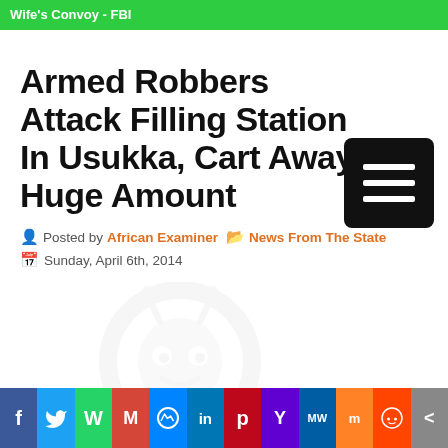Wife's Convoy - FBI
Armed Robbers Attack Filling Station In Usukka, Cart Away Huge Amount
Posted by African Examiner  News From The State
Sunday, April 6th, 2014
[Figure (logo): Reddit-style alien/figure watermark logo in light gray]
f  Twitter  WhatsApp  M  Messenger  in  Pinterest  Y  MW  Mix  Reddit  More